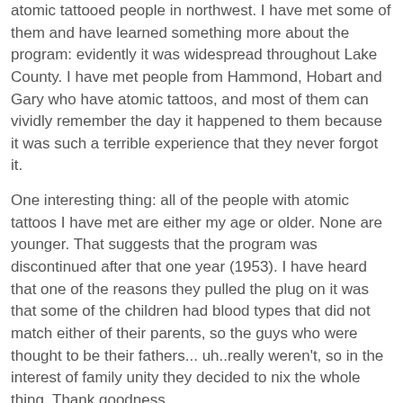atomic tattooed people in northwest. I have met some of them and have learned something more about the program: evidently it was widespread throughout Lake County. I have met people from Hammond, Hobart and Gary who have atomic tattoos, and most of them can vividly remember the day it happened to them because it was such a terrible experience that they never forgot it.
One interesting thing: all of the people with atomic tattoos I have met are either my age or older. None are younger. That suggests that the program was discontinued after that one year (1953). I have heard that one of the reasons they pulled the plug on it was that some of the children had blood types that did not match either of their parents, so the guys who were thought to be their fathers... uh..really weren't, so in the interest of family unity they decided to nix the whole thing. Thank goodness.
--Marcia Gaughan, submitted May 29, 2008>